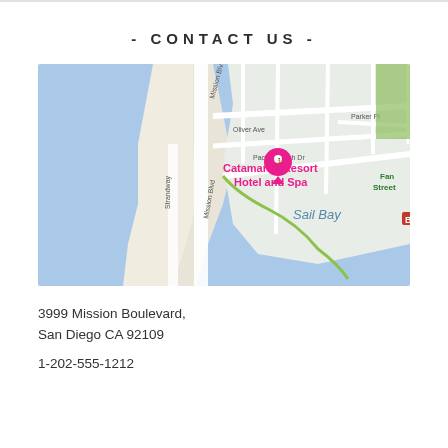- CONTACT US -
[Figure (map): Google Maps view showing Catamaran Resort Hotel and Spa at Mission Boulevard, Pacific Beach, San Diego. Map shows Mission Blvd, Strandway, Reed Ave, Oliver Ave, Pacific Beach Dr, Parker Pl, Sail Bay, and Fan Street. A pink map pin marks the Catamaran Resort Hotel and Spa location.]
3999 Mission Boulevard,
San Diego CA 92109
1-202-555-1212